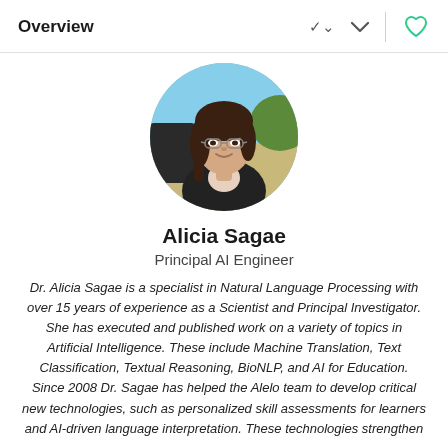Overview
[Figure (photo): Circular profile photo of Alicia Sagae, a woman with dark hair and glasses, wearing a black blazer, smiling outdoors.]
Alicia Sagae
Principal AI Engineer
Dr. Alicia Sagae is a specialist in Natural Language Processing with over 15 years of experience as a Scientist and Principal Investigator. She has executed and published work on a variety of topics in Artificial Intelligence. These include Machine Translation, Text Classification, Textual Reasoning, BioNLP, and AI for Education. Since 2008 Dr. Sagae has helped the Alelo team to develop critical new technologies, such as personalized skill assessments for learners and AI-driven language interpretation. These technologies strengthen